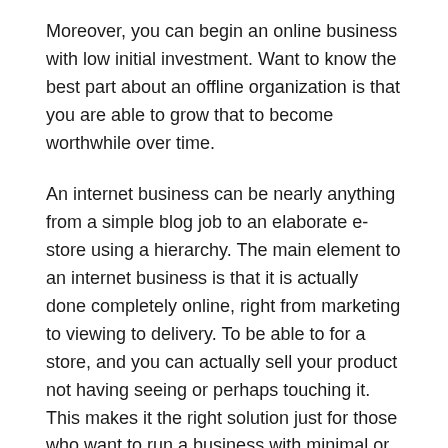Moreover, you can begin an online business with low initial investment. Want to know the best part about an offline organization is that you are able to grow that to become worthwhile over time.
An internet business can be nearly anything from a simple blog job to an elaborate e-store using a hierarchy. The main element to an internet business is that it is actually done completely online, right from marketing to viewing to delivery. To be able to for a store, and you can actually sell your product not having seeing or perhaps touching it. This makes it the right solution just for those who want to run a business with minimal or any overhead. If you never operate an online business ahead of, you'll be astonished by just how easy it is to get started.
The key benefits of starting an web business are plentiful.